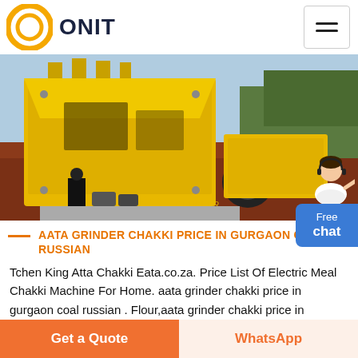ONIT
[Figure (photo): Large yellow industrial crusher machine (impact crusher) parked outdoors on red soil/earth, with 'CN CRUSHER' text visible on the machine. Sky and trees in background.]
AATA GRINDER CHAKKI PRICE IN GURGAON COAL RUSSIAN
Tchen King Atta Chakki Eata.co.za. Price List Of Electric Meal Chakki Machine For Home. aata grinder chakki price in gurgaon coal russian . Flour,aata grinder chakki price in
[Figure (other): Woman in white dress with headset, used as customer service chat widget illustration. Adjacent blue rounded button labeled 'Free chat'.]
Get a Quote | WhatsApp